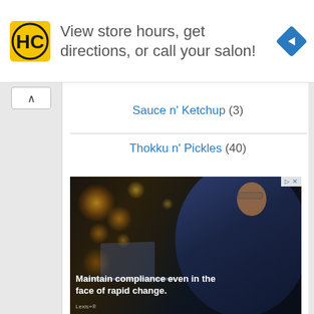[Figure (infographic): Top advertisement banner with HC salon logo (yellow square with black HC letters), text 'View store hours, get directions, or call your salon!', and a blue diamond navigation arrow icon on the right.]
Sauce n' Ketchup (3)
Thokku n' Pickles (40)
[Figure (photo): Advertisement image showing a man in a blue suit sitting at a desk working on a laptop with bokeh lights in the background. Text overlay reads 'Maintain compliance even in the face of rapid change.' with Lexis+ branding.]